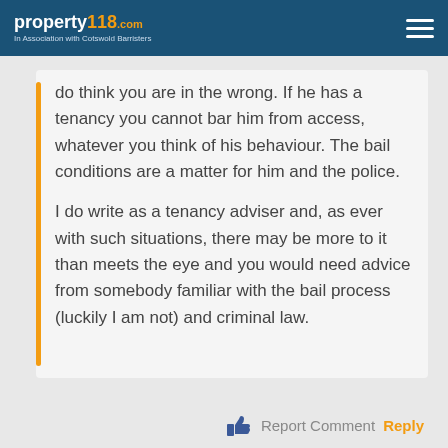property118.com — In Association with Cotswold Barristers
do think you are in the wrong. If he has a tenancy you cannot bar him from access, whatever you think of his behaviour. The bail conditions are a matter for him and the police.
I do write as a tenancy adviser and, as ever with such situations, there may be more to it than meets the eye and you would need advice from somebody familiar with the bail process (luckily I am not) and criminal law.
Report Comment Reply